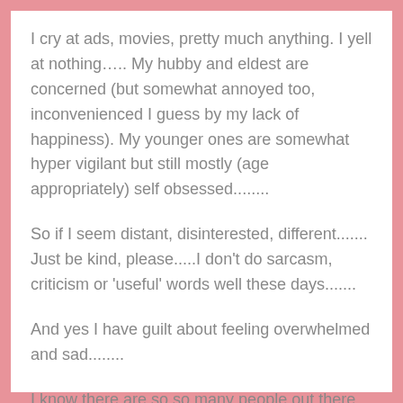I cry at ads, movies, pretty much anything. I yell at nothing….. My hubby and eldest are concerned (but somewhat annoyed too, inconvenienced I guess by my lack of happiness). My younger ones are somewhat hyper vigilant but still mostly (age appropriately) self obsessed........
So if I seem distant, disinterested, different....... Just be kind, please.....I don't do sarcasm, criticism or 'useful' words well these days.......
And yes I have guilt about feeling overwhelmed and sad........
I know there are so so many people out there worse off than me..........